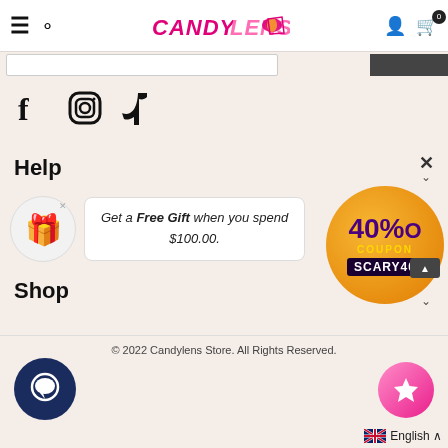CandyLens navigation bar with hamburger menu, search, logo, account, and cart icons
[Figure (screenshot): Social media icons: Facebook (f), Instagram, TikTok]
Help
Get a Free Gift when you spend $100.00.
[Figure (illustration): 40% OFF COUPON SCARY40 promotional badge in purple and orange Halloween style]
Shop
© 2022 Candylens Store. All Rights Reserved.
[Figure (illustration): Chat bubble widget (dark navy circle with speech bubble icon)]
[Figure (illustration): Pink rewards/star button]
English